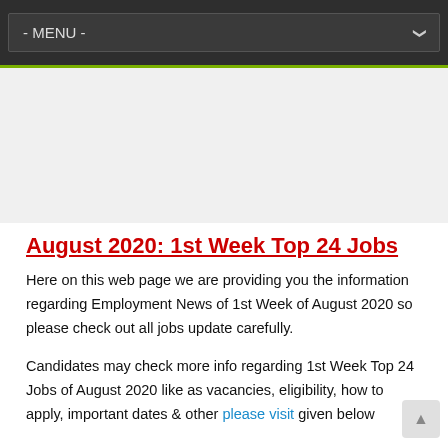- MENU -
[Figure (other): Advertisement banner area (blank/grey placeholder)]
August 2020: 1st Week Top 24 Jobs
Here on this web page we are providing you the information regarding Employment News of 1st Week of August 2020 so please check out all jobs update carefully.
Candidates may check more info regarding 1st Week Top 24 Jobs of August 2020 like as vacancies, eligibility, how to apply, important dates & other please visit given below